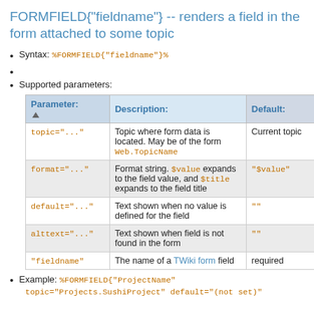FORMFIELD{"fieldname"} -- renders a field in the form attached to some topic
Syntax: %FORMFIELD{"fieldname"}%
Supported parameters:
| Parameter: | Description: | Default: |
| --- | --- | --- |
| topic="..." | Topic where form data is located. May be of the form Web.TopicName | Current topic |
| format="..." | Format string. $value expands to the field value, and $title expands to the field title | "$value" |
| default="..." | Text shown when no value is defined for the field | "" |
| alttext="..." | Text shown when field is not found in the form | "" |
| "fieldname" | The name of a TWiki form field | required |
Example: %FORMFIELD{"ProjectName" topic="Projects.SushiProject" default="(not set)"